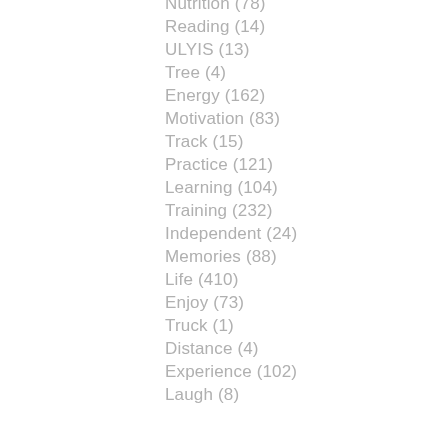Nutrition (78)
Reading (14)
ULYIS (13)
Tree (4)
Energy (162)
Motivation (83)
Track (15)
Practice (121)
Learning (104)
Training (232)
Independent (24)
Memories (88)
Life (410)
Enjoy (73)
Truck (1)
Distance (4)
Experience (102)
Laugh (8)